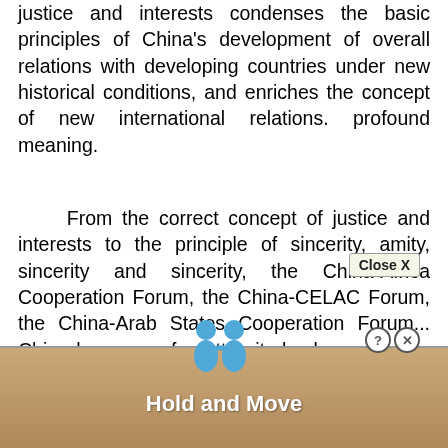justice and interests condenses the basic principles of China's development of overall relations with developing countries under new historical conditions, and enriches the concept of new international relations. profound meaning.
From the correct concept of justice and interests to the principle of sincerity, amity, sincerity and sincerity, the China-Africa Cooperation Forum, the China-CELAC Forum, the China-Arab States Cooperation Forum... China has never forgotten its background as a developing country, and always strives for devel... ncere
[Figure (other): Advertisement overlay with 'Hold and Move' banner text, cartoon person figures, a 'Close X' button, and help/close icons partially obscuring the bottom of the text content.]